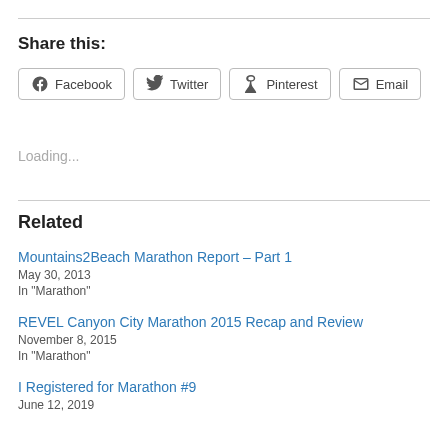Share this:
Facebook
Twitter
Pinterest
Email
Loading...
Related
Mountains2Beach Marathon Report – Part 1
May 30, 2013
In "Marathon"
REVEL Canyon City Marathon 2015 Recap and Review
November 8, 2015
In "Marathon"
I Registered for Marathon #9
June 12, 2019